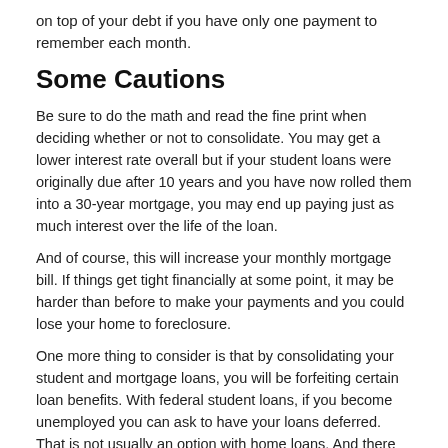on top of your debt if you have only one payment to remember each month.
Some Cautions
Be sure to do the math and read the fine print when deciding whether or not to consolidate. You may get a lower interest rate overall but if your student loans were originally due after 10 years and you have now rolled them into a 30-year mortgage, you may end up paying just as much interest over the life of the loan.
And of course, this will increase your monthly mortgage bill. If things get tight financially at some point, it may be harder than before to make your payments and you could lose your home to foreclosure.
One more thing to consider is that by consolidating your student and mortgage loans, you will be forfeiting certain loan benefits. With federal student loans, if you become unemployed you can ask to have your loans deferred. That is not usually an option with home loans. And there are plenty of federal loan forgiveness programs that